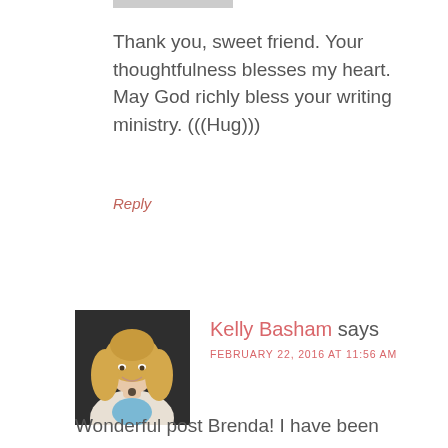[Figure (photo): Cropped top of a profile photo or avatar image, partially visible at top of page]
Thank you, sweet friend. Your thoughtfulness blesses my heart. May God richly bless your writing ministry. (((Hug)))
Reply
[Figure (photo): Portrait photo of a blonde woman smiling, wearing a light blazer and blue top, with a necklace, photographed outdoors against a dark background]
Kelly Basham says
FEBRUARY 22, 2016 AT 11:56 AM
Wonderful post Brenda! I have been